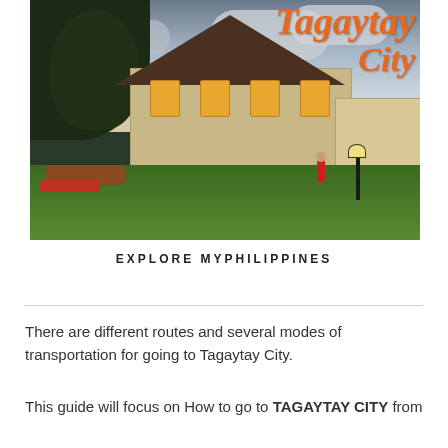[Figure (photo): Photo of a building with a triangular roof resembling a Filipino architecture, lit from inside with warm yellow light, surrounded by green lawn, garden beds, trees, and a lamp post at dusk. Overlaid with orange italic script text 'Tagaytay City']
EXPLORE MYPHILIPPINES
There are different routes and several modes of transportation for going to Tagaytay City.
This guide will focus on How to go to TAGAYTAY CITY from